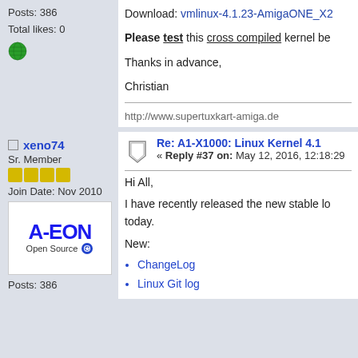Posts: 386
Total likes: 0
Download: vmlinux-4.1.23-AmigaONE_X2...
Please test this cross compiled kernel be...
Thanks in advance,
Christian
http://www.supertuxkart-amiga.de
xeno74
Sr. Member
Join Date: Nov 2010
[Figure (logo): A-EON Open Source logo with blue text and a blue gear/star icon]
Posts: 386
Re: A1-X1000: Linux Kernel 4.1
« Reply #37 on: May 12, 2016, 12:18:29
Hi All,
I have recently released the new stable lo... today.
New:
ChangeLog
Linux Git log